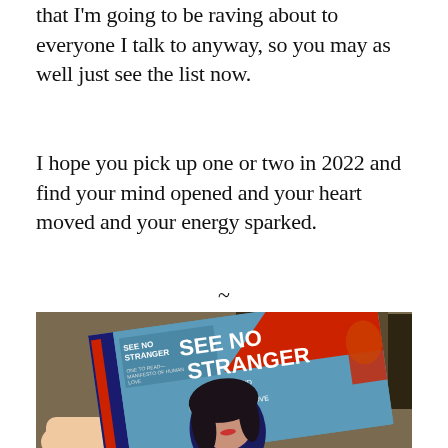that I'm going to be raving about to everyone I talk to anyway, so you may as well just see the list now.
I hope you pick up one or two in 2022 and find your mind opened and your heart moved and your energy sparked.
~
[Figure (photo): A hand holding a book titled 'See No Stranger: A Memoir and Manifesto of Revolutionary Love', featuring a portrait of a woman on the cover with a blue and red graphic design.]